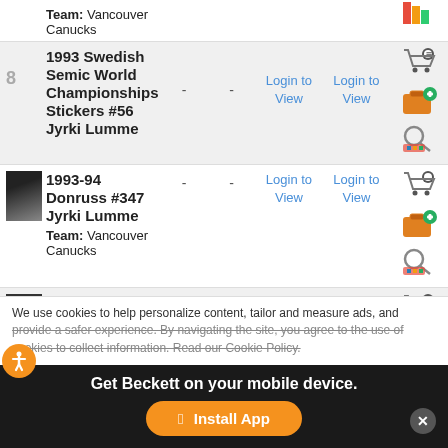| Vancouver Canucks (Team) | - | - | Login to View | Login to View | [cart icon] | [add icon] | [search icon] |
| 1993 Swedish Semic World Championships Stickers #56 Jyrki Lumme | - | - | Login to View | Login to View | [cart icon] | [add icon] | [search icon] |
| 1993-94 Donruss #347 Jyrki Lumme
Team: Vancouver Canucks | - | - | Login to View | Login to View | [cart icon] | [add icon] | [search icon] |
| 1993-94 Leaf #231 Jyrki Lumme
Team: Vancouver Canucks | - | - | Login to View | Login to View | [cart icon] | [add icon] | [search icon] |
We use cookies to help personalize content, tailor and measure ads, and provide a safer experience. By navigating the site, you agree to the use of cookies to collect information. Read our Cookie Policy.
Get Beckett on your mobile device.
Install App